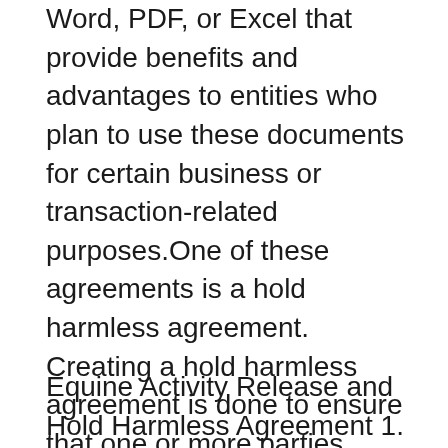Word, PDF, or Excel that provide benefits and advantages to entities who plan to use these documents for certain business or transaction-related purposes.One of these agreements is a hold harmless agreement. Creating a hold harmless agreement is done to ensure that one or more parties within a transaction can legally limit their liabilities. Create a Hold Harmless Agreement with step-by-step directions. A Hold Harmless Agreement is a contract between two parties designed to launch one or each events Print or obtain a custom-made Hold-Harmless (Indemnity) Agreement.
Equine Activity Release and Hold Harmless Agreement 1. I, _____, the undersigned have read and understand, and freely and voluntarily enter